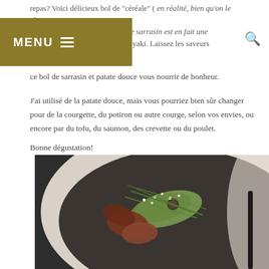repas? Voici délicieux bol de "céréale" ( en réalité, bien qu'on le classe dans la catégorie des céréales, le sarrasin est en fait une graine.) et de légumes, façon teriyaki. Laissez les saveurs asiatiques de ce bol de sarrasin et patate douce vous nourrir de bonheur.
MENU
J'ai utilisé de la patate douce, mais vous pourriez bien sûr changer pour de la courgette, du potiron ou autre courge, selon vos envies, ou encore par du tofu, du saumon, des crevette ou du poulet.
Bonne dégustation!
[Figure (photo): A white bowl containing a food dish with roasted sweet potato, sliced avocado, green herbs/scallions, sesame seeds, photographed from above on a dark slate surface.]